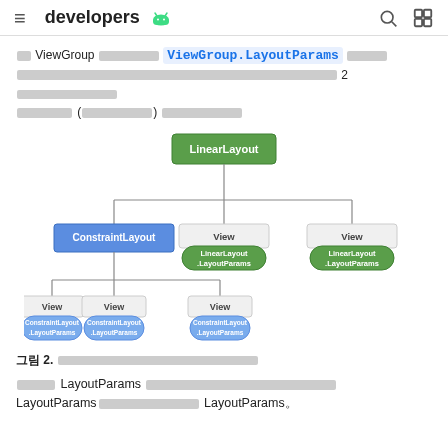developers [android logo]
각 ViewGroup 서브클래스에는 ViewGroup.LayoutParams 로 확장되어 레이아웃 매개변수를 포함하는 2 개의 하위요소 있음 (필수항목) ConstraintLayout
[Figure (organizational-chart): Hierarchy diagram showing LinearLayout at top, branching to ConstraintLayout (blue box) and two View nodes (gray boxes with green LinearLayout.LayoutParams labels). ConstraintLayout further branches to three View nodes (gray boxes with blue ConstraintLayout.LayoutParams labels).]
그림 2. 레이아웃 매개변수의 계층 구조 예
각각의 LayoutParams 서브클래스에는 고유한 값 설정 문법이 있습니다. LayoutParams를 상속하는 각 요소는 자체 LayoutParams를 정의합니다.